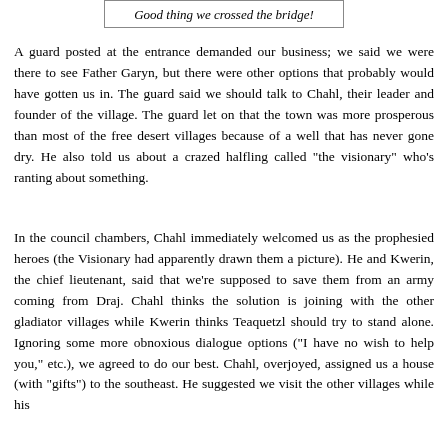[Figure (other): A bordered text box containing italic text: 'Good thing we crossed the bridge!']
A guard posted at the entrance demanded our business; we said we were there to see Father Garyn, but there were other options that probably would have gotten us in. The guard said we should talk to Chahl, their leader and founder of the village. The guard let on that the town was more prosperous than most of the free desert villages because of a well that has never gone dry. He also told us about a crazed halfling called "the visionary" who's ranting about something.
In the council chambers, Chahl immediately welcomed us as the prophesied heroes (the Visionary had apparently drawn them a picture). He and Kwerin, the chief lieutenant, said that we're supposed to save them from an army coming from Draj. Chahl thinks the solution is joining with the other gladiator villages while Kwerin thinks Teaquetzl should try to stand alone. Ignoring some more obnoxious dialogue options ("I have no wish to help you," etc.), we agreed to do our best. Chahl, overjoyed, assigned us a house (with "gifts") to the southeast. He suggested we visit the other villages while his